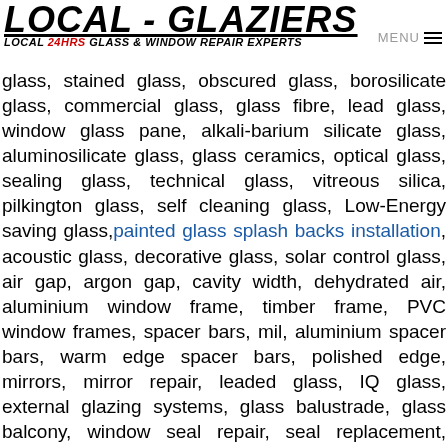LOCAL - GLAZIERS
LOCAL 24HRS GLASS & WINDOW REPAIR EXPERTS
glass, stained glass, obscured glass, borosilicate glass, commercial glass, glass fibre, lead glass, window glass pane, alkali-barium silicate glass, aluminosilicate glass, glass ceramics, optical glass, sealing glass, technical glass, vitreous silica, pilkington glass, self cleaning glass, Low-Energy saving glass, painted glass splash backs installation, acoustic glass, decorative glass, solar control glass, air gap, argon gap, cavity width, dehydrated air, aluminium window frame, timber frame, PVC window frames, spacer bars, mil, aluminium spacer bars, warm edge spacer bars, polished edge, mirrors, mirror repair, leaded glass, IQ glass, external glazing systems, glass balustrade, glass balcony, window seal repair, seal replacement, laminated glass, laminate glass, 7mm glass, 8mm glass, 6mm glass, 5mm glass, 4mm glass, 3mm glass, 2 mm glass, 6.4mm glass, thick glass, velux windows, skylight windows, glass splash backs, boarding up, emergency glazing, emergency window repairs, emergency boarding up, 24 hour glazing, 24hrs glazing repairs, glass installation, window glass installer, tilt and turn windows, roof glass, conservatory glazing repairs, glazier, glass glazier, local glaziers